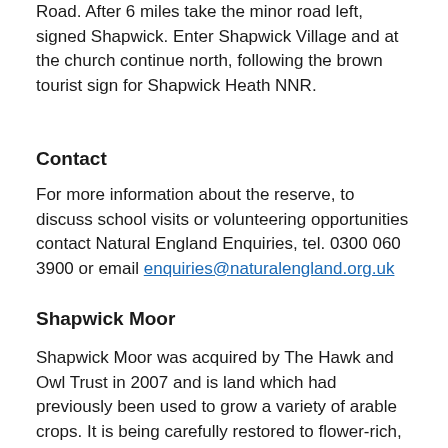Road. After 6 miles take the minor road left, signed Shapwick. Enter Shapwick Village and at the church continue north, following the brown tourist sign for Shapwick Heath NNR.
Contact
For more information about the reserve, to discuss school visits or volunteering opportunities contact Natural England Enquiries, tel. 0300 060 3900 or email enquiries@naturalengland.org.uk
Shapwick Moor
Shapwick Moor was acquired by The Hawk and Owl Trust in 2007 and is land which had previously been used to grow a variety of arable crops. It is being carefully restored to flower-rich, semi-natural grassland and fen and welcoming wildlife back as these changes are made and the habitat is regenerated.
Main habitat: wet grassland, fen, ditches.